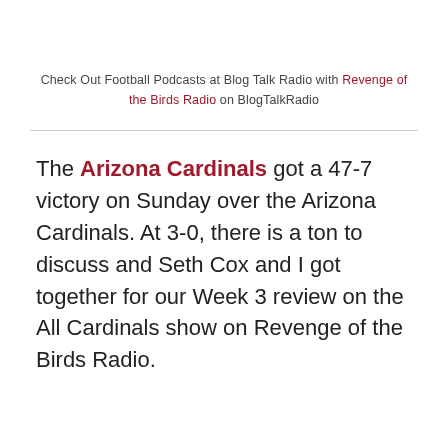Check Out Football Podcasts at Blog Talk Radio with Revenge of the Birds Radio on BlogTalkRadio
The Arizona Cardinals got a 47-7 victory on Sunday over the Arizona Cardinals. At 3-0, there is a ton to discuss and Seth Cox and I got together for our Week 3 review on the All Cardinals show on Revenge of the Birds Radio.